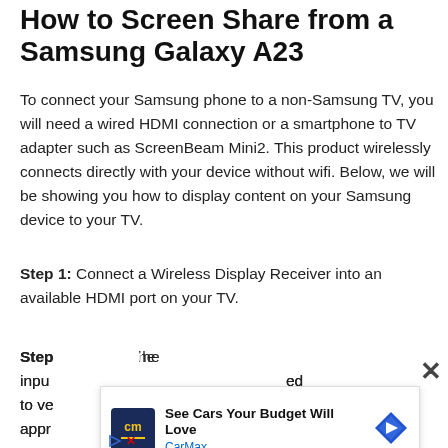How to Screen Share from a Samsung Galaxy A23
To connect your Samsung phone to a non-Samsung TV, you will need a wired HDMI connection or a smartphone to TV adapter such as ScreenBeam Mini2. This product wirelessly connects directly with your device without wifi. Below, we will be showing you how to display content on your Samsung device to your TV.
Step 1: Connect a Wireless Display Receiver into an available HDMI port on your TV.
Step 2: [partially obscured] ...the input ...ed to ve... ...appro...
[Figure (other): Advertisement overlay for CarMax showing 'See Cars Your Budget Will Love' with CarMax logo and navigation arrow icon, partially covering page content]